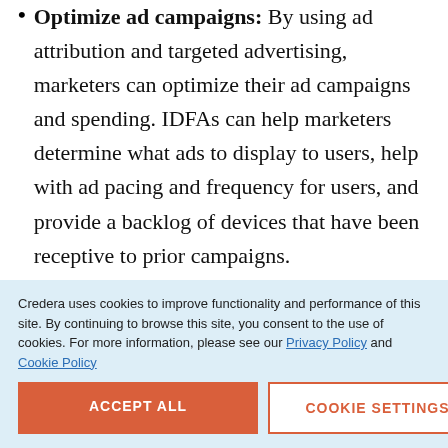Optimize ad campaigns: By using ad attribution and targeted advertising, marketers can optimize their ad campaigns and spending. IDFAs can help marketers determine what ads to display to users, help with ad pacing and frequency for users, and provide a backlog of devices that have been receptive to prior campaigns.
Credera uses cookies to improve functionality and performance of this site. By continuing to browse this site, you consent to the use of cookies. For more information, please see our Privacy Policy and Cookie Policy